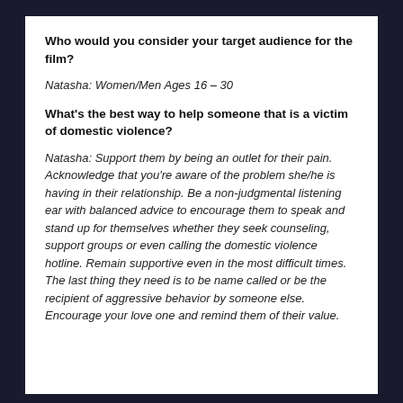Who would you consider your target audience for the film?
Natasha: Women/Men Ages 16 – 30
What's the best way to help someone that is a victim of domestic violence?
Natasha: Support them by being an outlet for their pain. Acknowledge that you're aware of the problem she/he is having in their relationship. Be a non-judgmental listening ear with balanced advice to encourage them to speak and stand up for themselves whether they seek counseling, support groups or even calling the domestic violence hotline. Remain supportive even in the most difficult times. The last thing they need is to be name called or be the recipient of aggressive behavior by someone else. Encourage your love one and remind them of their value.